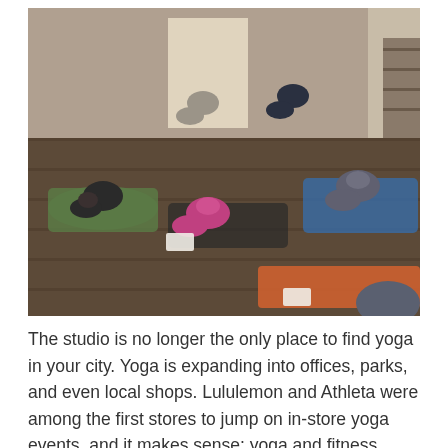[Figure (photo): A group of people doing yoga in child's pose on yoga mats in what appears to be a retail store or studio space with dark wood floors. Several participants are bowing forward with heads down. Yoga mats of various colors (green, blue, orange, black) are visible on the floor.]
The studio is no longer the only place to find yoga in your city. Yoga is expanding into offices, parks, and even local shops. Lululemon and Athleta were among the first stores to jump on in-store yoga events, and it makes sense: yoga and fitness enthusiasts flock to a store for a class, and are surrounded by the lovely goodies around them in the shop. Even if a participant doesn't buy something at the event, they will have a positive experience